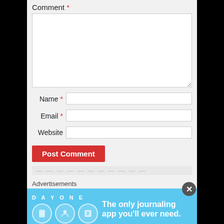Comment *
[Figure (screenshot): Empty comment textarea input box with light border]
Name *
Email *
Website
Post Comment
Advertisements
[Figure (infographic): Day One journaling app advertisement banner. Blue background with DAY ONE title, three circular icons, and text: The only journaling app you'll ever need.]